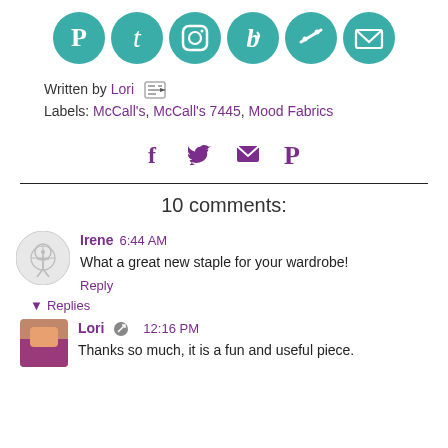[Figure (illustration): Six teal circular social media icons: Pinterest, Twitter, Instagram, Bloglovin, Feedly, Email]
Written by Lori
Labels: McCall's, McCall's 7445, Mood Fabrics
[Figure (illustration): Four purple share icons: Facebook f, Twitter bird, Email envelope, Pinterest P]
10 comments:
Irene 6:44 AM
What a great new staple for your wardrobe!
Reply
Replies
Lori 12:16 PM
Thanks so much, it is a fun and useful piece.